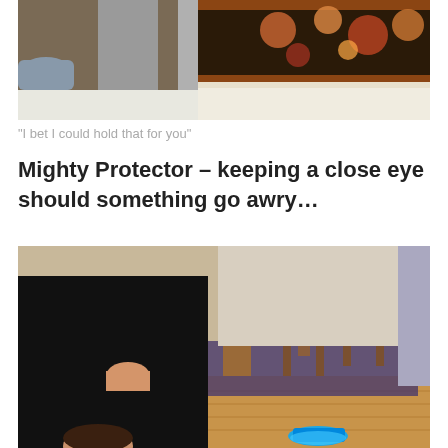[Figure (photo): Close-up photo of a shoe/foot stepping on or near a decorative fringe rug with floral pattern on carpet floor]
“I bet I could hold that for you”
Mighty Protector – keeping a close eye should something go awry…
[Figure (photo): Indoor scene showing a person in black clothing sitting, with dining room chairs, a patterned rug, hardwood floor, and a glowing blue object visible in the foreground bottom]